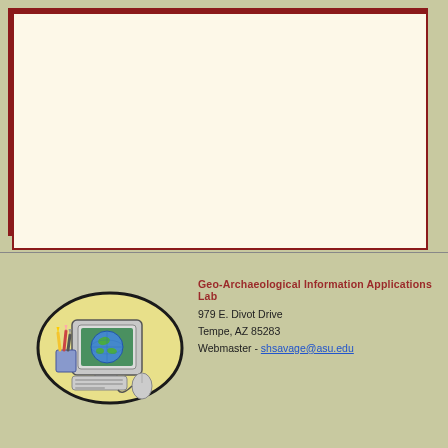[Figure (illustration): Decorative cream/off-white content box with dark red border, set against an olive/tan background. The box has an outer dark-red border and an inner cream rectangle.]
[Figure (illustration): Clip-art style illustration of a desktop computer with a globe on screen, pencils/pens in a cup, keyboard, and a computer mouse, set against a yellow oval background with black outline, on olive/tan background.]
Geo-Archaeological Information Applications Lab
979 E. Divot Drive
Tempe, AZ 85283
Webmaster - shsavage@asu.edu